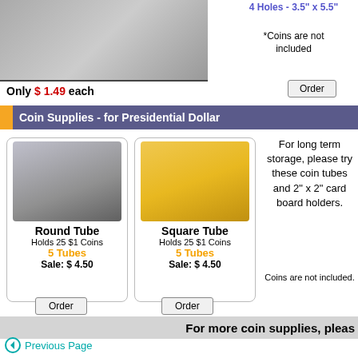[Figure (photo): Coin holder product image at top left]
4 Holes - 3.5" x 5.5"
*Coins are not included
Only $ 1.49 each
Coin Supplies - for Presidential Dollar
[Figure (photo): Round Tube coin storage product photo]
Round Tube
Holds 25 $1 Coins
5 Tubes
Sale: $ 4.50
[Figure (photo): Square Tube coin storage product photo]
Square Tube
Holds 25 $1 Coins
5 Tubes
Sale: $ 4.50
For long term storage, please try these coin tubes and 2" x 2" card board holders.
Coins are not included.
For more coin supplies, pleas
Previous Page